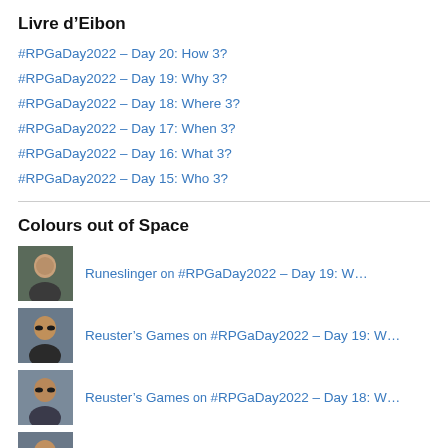Livre d’Eibon
#RPGaDay2022 – Day 20: How 3?
#RPGaDay2022 – Day 19: Why 3?
#RPGaDay2022 – Day 18: Where 3?
#RPGaDay2022 – Day 17: When 3?
#RPGaDay2022 – Day 16: What 3?
#RPGaDay2022 – Day 15: Who 3?
Colours out of Space
Runeslinger on #RPGaDay2022 – Day 19: W…
Reuster’s Games on #RPGaDay2022 – Day 19: W…
Reuster’s Games on #RPGaDay2022 – Day 18: W…
Reuster’s Games on #RPGaDay2022 – Day 13: H…
Reuster’s Games on #RPGaDay2022 – Day 12: W…